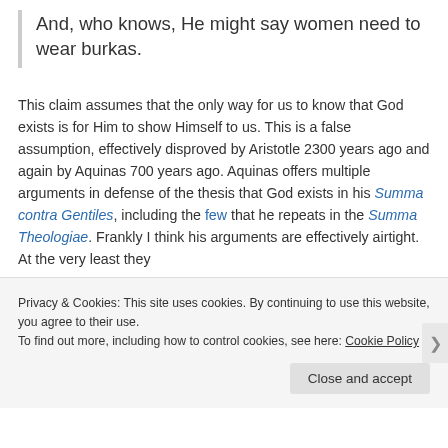And, who knows, He might say women need to wear burkas.
This claim assumes that the only way for us to know that God exists is for Him to show Himself to us. This is a false assumption, effectively disproved by Aristotle 2300 years ago and again by Aquinas 700 years ago. Aquinas offers multiple arguments in defense of the thesis that God exists in his Summa contra Gentiles, including the few that he repeats in the Summa Theologiae. Frankly I think his arguments are effectively airtight. At the very least they
Privacy & Cookies: This site uses cookies. By continuing to use this website, you agree to their use.
To find out more, including how to control cookies, see here: Cookie Policy